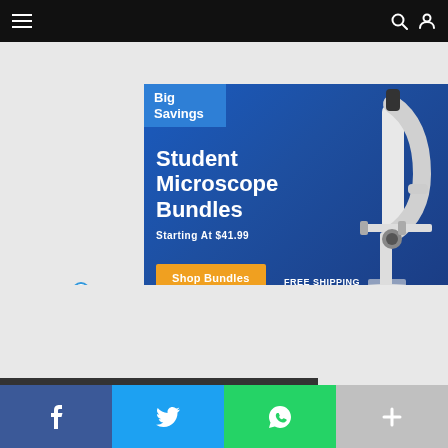Navigation bar with hamburger menu, search and user icons
[Figure (infographic): Advertisement banner for Student Microscope Bundles. Blue background with a white microscope image on the right. Blue 'Big Savings' tag in top left. Text: 'Student Microscope Bundles', 'Starting At $41.99'. Orange 'Shop Bundles' button. 'FREE SHIPPING AVAILABLE' text.]
Social share bar: Facebook, Twitter, WhatsApp, More (+)